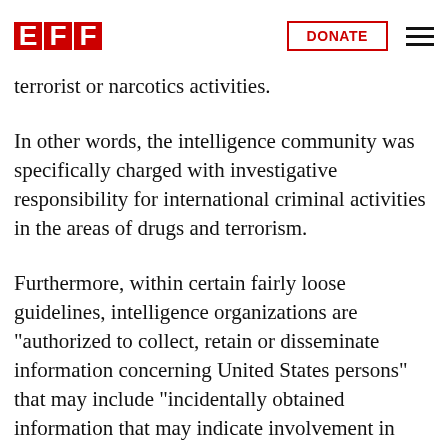EFF | DONATE
to...participate in law enforcement activities to investigate or prevent domestic intelligence activities by foreign powers, or international terrorist or narcotics activities.
In other words, the intelligence community was specifically charged with investigative responsibility for international criminal activities in the areas of drugs and terrorism.
Furthermore, within certain fairly loose guidelines, intelligence organizations are "authorized to collect, retain or disseminate information concerning United States persons" that may include "incidentally obtained information that may indicate involvement in activities that may violate federal, state, local or foreign laws."